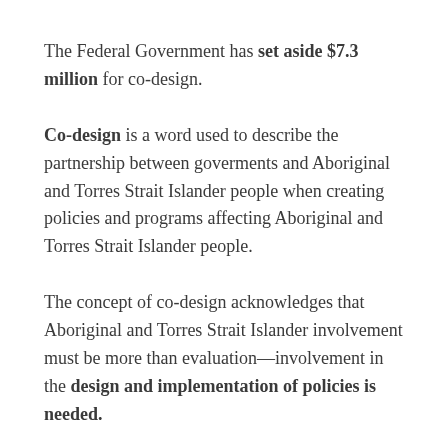The Federal Government has set aside $7.3 million for co-design.
Co-design is a word used to describe the partnership between goverments and Aboriginal and Torres Strait Islander people when creating policies and programs affecting Aboriginal and Torres Strait Islander people.
The concept of co-design acknowledges that Aboriginal and Torres Strait Islander involvement must be more than evaluation—involvement in the design and implementation of policies is needed.